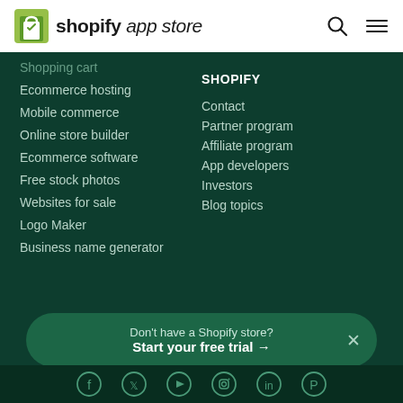Shopify App Store
Shopping cart
Ecommerce hosting
Mobile commerce
Online store builder
Ecommerce software
Free stock photos
Websites for sale
Logo Maker
Business name generator
SHOPIFY
Contact
Partner program
Affiliate program
App developers
Investors
Blog topics
Don't have a Shopify store? Start your free trial →